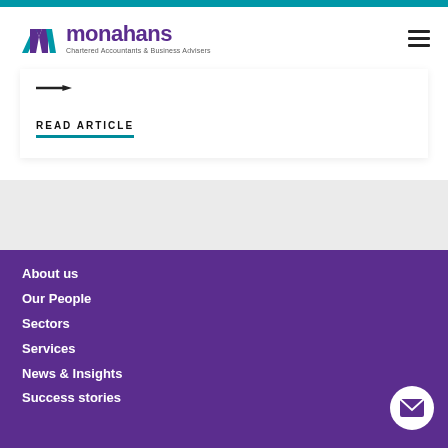[Figure (logo): Monahans Chartered Accountants & Business Advisers logo with teal M icon and purple text]
READ ARTICLE
About us
Our People
Sectors
Services
News & Insights
Success stories